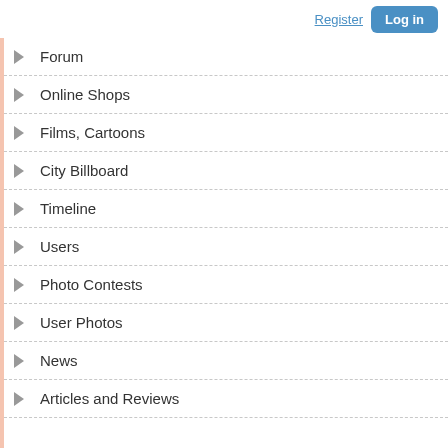Register  Log in
Forum
Online Shops
Films, Cartoons
City Billboard
Timeline
Users
Photo Contests
User Photos
News
Articles and Reviews